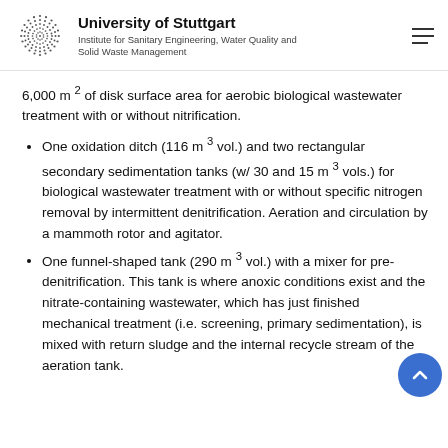University of Stuttgart — Institute for Sanitary Engineering, Water Quality and Solid Waste Management
6,000 m² of disk surface area for aerobic biological wastewater treatment with or without nitrification.
One oxidation ditch (116 m³ vol.) and two rectangular secondary sedimentation tanks (w/ 30 and 15 m³ vols.) for biological wastewater treatment with or without specific nitrogen removal by intermittent denitrification. Aeration and circulation by a mammoth rotor and agitator.
One funnel-shaped tank (290 m³ vol.) with a mixer for pre-denitrification. This tank is where anoxic conditions exist and the nitrate-containing wastewater, which has just finished mechanical treatment (i.e. screening, primary sedimentation), is mixed with return sludge and the internal recycle stream of the aeration tank.